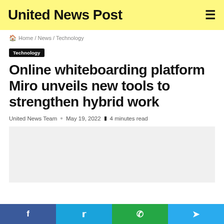United News Post
Home / News / Technology
Technology
Online whiteboarding platform Miro unveils new tools to strengthen hybrid work
United News Team · May 19, 2022 4 minutes read
[Figure (photo): Article image placeholder (light gray box)]